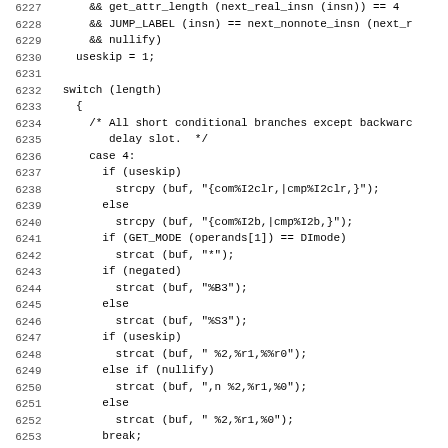Source code listing, lines 6227-6258
6227	&& get_attr_length (next_real_insn (insn)) == 4
6228	&& JUMP_LABEL (insn) == next_nonnote_insn (next_r
6229	&& nullify)
6230	useskip = 1;
6231
6232	switch (length)
6233	{
6234	/* All short conditional branches except backwar
6235	delay slot. */
6236	case 4:
6237	if (useskip)
6238	strcpy (buf, "{com%I2clr,|cmp%I2clr,}");
6239	else
6240	strcpy (buf, "{com%I2b,|cmp%I2b,}");
6241	if (GET_MODE (operands[1]) == DImode)
6242	strcat (buf, "*");
6243	if (negated)
6244	strcat (buf, "%B3");
6245	else
6246	strcat (buf, "%S3");
6247	if (useskip)
6248	strcat (buf, " %2,%r1,%%r0");
6249	else if (nullify)
6250	strcat (buf, ",n %2,%r1,%0");
6251	else
6252	strcat (buf, " %2,%r1,%0");
6253	break;
6254
6255	/* All long conditionals. Note a short backward b
6256	unfilled delay slot is treated just like a long
6257	with an unfilled delay slot. */
6258	case 8: